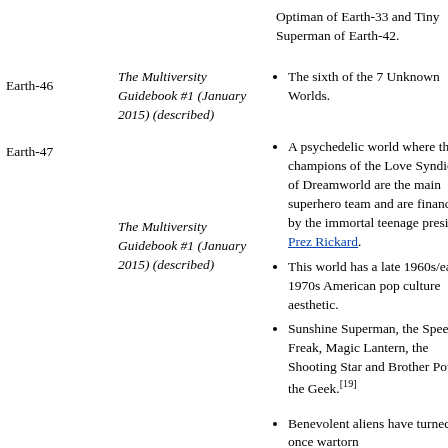Optiman of Earth-33 and Tiny Superman of Earth-42.
The sixth of the 7 Unknown Worlds.
Earth-46
The Multiversity Guidebook #1 (January 2015) (described)
A psychedelic world where the champions of the Love Syndicate of Dreamworld are the main superhero team and are financed by the immortal teenage president Prez Rickard.
This world has a late 1960s/early 1970s American pop culture aesthetic.
Sunshine Superman, the Speed Freak, Magic Lantern, the Shooting Star and Brother Power the Geek.[19]
Earth-47
The Multiversity Guidebook #1 (January 2015) (described)
Benevolent aliens have turned this once wartorn